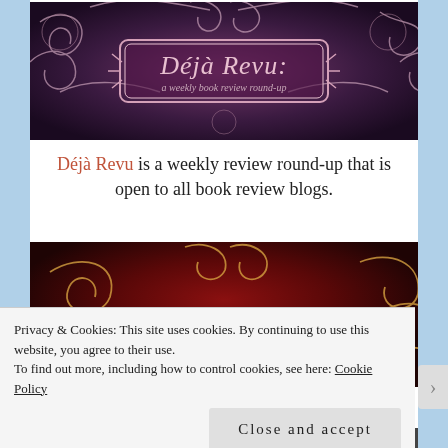[Figure (illustration): Déjà Revu banner: dark purple/black background with ornate swirling flourishes in gold/pink, centered ornate frame containing the italic text 'Déjà Revu:' and subtitle 'a weekly book review round-up']
Déjà Revu is a weekly review round-up that is open to all book review blogs.
[Figure (illustration): Second banner image with dark red/maroon background and ornate gold swirling flourishes, partially visible]
Privacy & Cookies: This site uses cookies. By continuing to use this website, you agree to their use. To find out more, including how to control cookies, see here: Cookie Policy
Close and accept